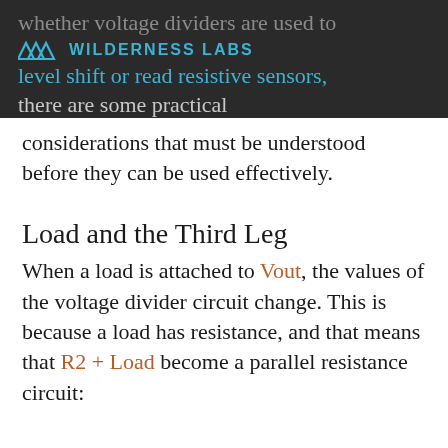whether voltage dividers are used to level shift or read resistive sensors, there are some practical
considerations that must be understood before they can be used effectively.
Load and the Third Leg
When a load is attached to Vout, the values of the voltage divider circuit change. This is because a load has resistance, and that means that R2 + Load become a parallel resistance circuit: